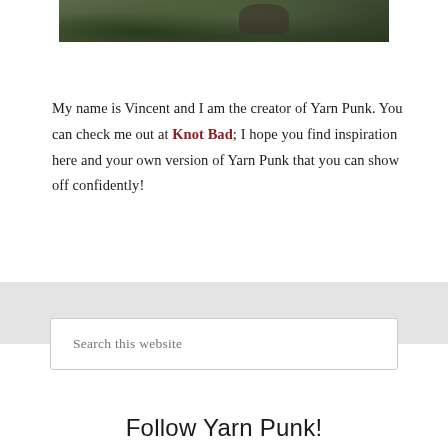[Figure (photo): Partial view of a person in a grassy outdoor setting, cropped at top of page]
My name is Vincent and I am the creator of Yarn Punk. You can check me out at Knot Bad; I hope you find inspiration here and your own version of Yarn Punk that you can show off confidently!
Follow Yarn Punk!